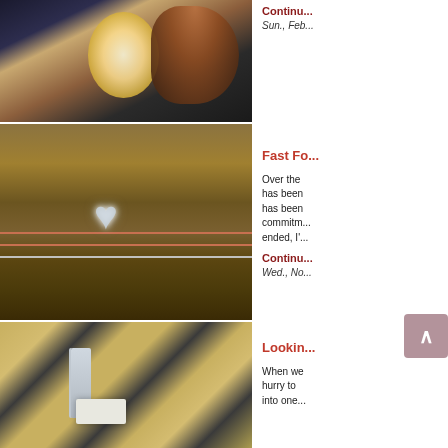[Figure (photo): Close-up photo of a glowing candle or light with a copper or bronze bowl, dark background]
Continu...
Sun., Feb...
[Figure (photo): Photo of a heart-shaped sparkly rock on a fence post surrounded by dry grassland]
Fast Fo...
Over the... has been... has been... commitm... ended, I'...
Continu...
Wed., No...
[Figure (photo): Photo of a geometric patterned rug with a lamp and plant in a modern interior]
Lookin...
When we... hurry to... into one...